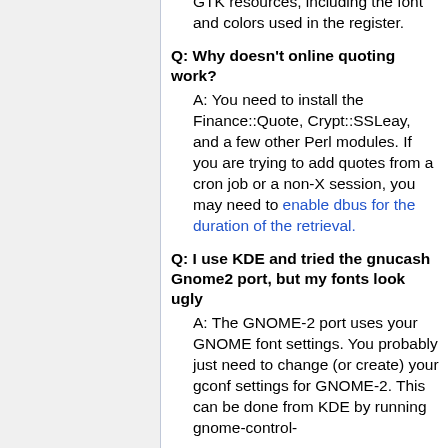GTK resources, including the font and colors used in the register.
Q: Why doesn't online quoting work?
A: You need to install the Finance::Quote, Crypt::SSLeay, and a few other Perl modules. If you are trying to add quotes from a cron job or a non-X session, you may need to enable dbus for the duration of the retrieval.
Q: I use KDE and tried the gnucash Gnome2 port, but my fonts look ugly
A: The GNOME-2 port uses your GNOME font settings. You probably just need to change (or create) your gconf settings for GNOME-2. This can be done from KDE by running gnome-control-